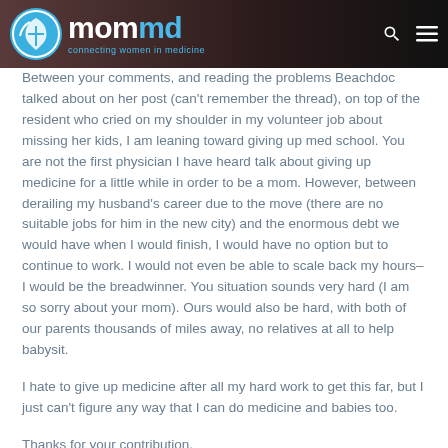mommd — connecting women in medicine
Between your comments, and reading the problems Beachdoc talked about on her post (can't remember the thread), on top of the resident who cried on my shoulder in my volunteer job about missing her kids, I am leaning toward giving up med school. You are not the first physician I have heard talk about giving up medicine for a little while in order to be a mom. However, between derailing my husband's career due to the move (there are no suitable jobs for him in the new city) and the enormous debt we would have when I would finish, I would have no option but to continue to work. I would not even be able to scale back my hours–I would be the breadwinner. You situation sounds very hard (I am so sorry about your mom). Ours would also be hard, with both of our parents thousands of miles away, no relatives at all to help babysit.
I hate to give up medicine after all my hard work to get this far, but I just can't figure any way that I can do medicine and babies too.
Thanks for your contribution.